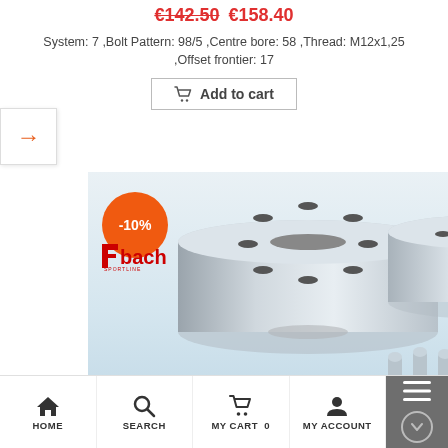€142.50 €158.40
System: 7 ,Bolt Pattern: 98/5 ,Centre bore: 58 ,Thread: M12x1,25 ,Offset frontier: 17
Add to cart
[Figure (photo): Eibach Pro-Spacer System 7 wheel spacers product photo showing two aluminum wheel spacers and bolts on a light blue gradient background, with -10% orange discount badge and Eibach logo]
PRO-SPACER | SYSTEM 7 Spurverbreiterungen | Wheel Spacers
HOME  SEARCH  MY CART 0  MY ACCOUNT